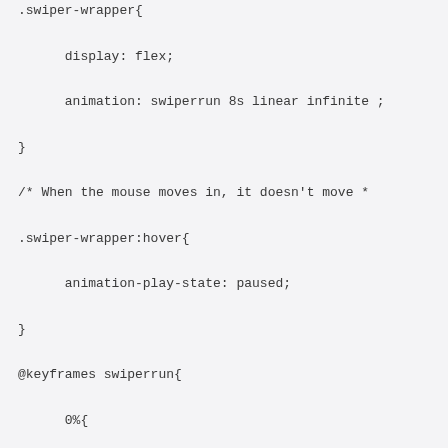CSS code snippet showing .swiper-wrapper styles, hover state, and @keyframes swiperrun animation